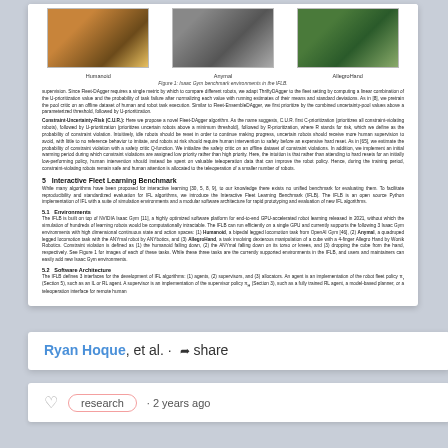[Figure (photo): Three robot environment images: Humanoid, Anymal, AllegroHand side by side]
Figure 1: Isaac Gym benchmark environments in the IFLB.
supervision. Since Fleet-DAgger requires a single metric by which to compare different robots, we adapt ThriftyDAgger to the fleet setting by computing a linear combination of the U-prioritization value and the probability of task failure after normalizing each value with running estimates of their means and standard deviations. As in [8], we pretrain the pool critic on an offline dataset of human and robot task execution. Similar to Fleet-EnsembleDAgger, we first prioritize by the combined uncertainty-pool values above a parameterized threshold, followed by U-prioritization.
Constraint-Uncertainty-Risk (CUR): Here we propose a novel Fleet-DAgger algorithm. As the name suggests, C.U.R. first C-prioritization (prioritizes all constraint-violating robots), followed by U-prioritization (prioritizes uncertain robots above a minimum threshold), followed by R-prioritization, where R stands for risk, which we define as the probability of constraint violation. Intuitively, idle robots should be reset in order to continue making progress, uncertain robots should receive more human supervision to avoid, with little to no reference behavior to imitate, and robots at risk should require human intervention to safety before an expensive hard reset. As in [65], we estimate the probability of constraint violation with a safety critic Q-function. We initialize the safety critic on an offline dataset of constraint violations. In addition, we implement an initial warming period during which constraint violations are assigned low priority rather than high priority. Here, the intuition is that rather than attending to hard resets for an initially low-performing policy, human intervention should instead be spent on valuable teleoperation data that can improve the robot policy. Hence, during the training period, constraint-violating robots remain safe and human attention is allocated to the teleoperation of a smaller number of robots.
5 Interactive Fleet Learning Benchmark
While many algorithms have been proposed for interactive learning [30, 5, 8, 9], to our knowledge there exists no unified benchmark for evaluating them. To facilitate reproducibility and standardized evaluation for IFL algorithms, we introduce the Interactive Fleet Learning Benchmark (IFLB). The IFLB is an open source Python implementation of IFL with a suite of simulation environments and a modular software architecture for rapid prototyping and evaluation of new IFL algorithms.
5.1 Environments
The IFLB is built on top of NVIDIA Isaac Gym [11], a highly optimized software platform for end-to-end GPU-accelerated robot learning released in 2021, without which the simulation of hundreds of learning robots would be computationally intractable. The IFLB can run efficiently on a single GPU and currently supports the following 3 Isaac Gym environments with high dimensional continuous state and action spaces: (1) Humanoid, a bipedal legged locomotion task from OpenAI Gym [46], (2) Anymal, a quadruped legged locomotion task with the ANYmal robot by ANYbotics, and (3) AllegroHand, a task involving dexterous manipulation of a cube with a 4-finger Allegro Hand by Wonik Robotics. Constraint violation is defined as (1) the humanoid falling down, (2) the ANYmal falling down on its torso or knees, and (3) dropping the cube from the hand, respectively. See Figure 1 for images of each of these tasks. While these three tasks are the currently supported environments in the IFLB, and users and maintainers can easily add new Isaac Gym environments.
5.2 Software Architecture
The IFLB defines 3 interfaces for the development of IFL algorithms: (1) agents, (2) supervisors, and (3) allocators. An agent is an implementation of the robot fleet policy π_r (Section 5), such as an IL or RL agent. A supervisor is an implementation of the supervisor policy π_H (Section 3), such as a fully trained RL agent, a model-based planner, or a teleoperation interface for remote human
Ryan Hoque, et al. · share
research · 2 years ago